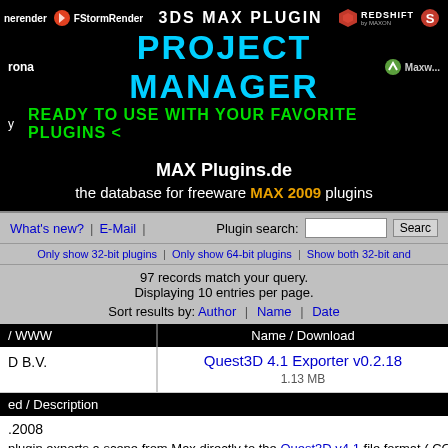[Figure (screenshot): 3DS MAX Plugin Project Manager banner with logos for FStormRender, Redshift, Maxwell, Corona renderers on black background]
MAX Plugins.de
the database for freeware MAX 2009 plugins
What's new? | E-Mail | Plugin search: [input] Search
Only show 32-bit plugins | Only show 64-bit plugins | Show both 32-bit and
97 records match your query.
Displaying 10 entries per page.
Sort results by: Author | Name | Date
| / WWW | Name / Download |
| --- | --- |
| D B.V. | Quest3D 4.1 Exporter v0.2.18
1.13 MB |
ed / Description
.2008
plugin exports a scene from Max directly to the Quest3D v4.1 file format (.CGR... rchy export, animation, alpha blending, multi-maps, smoothing groups and vert